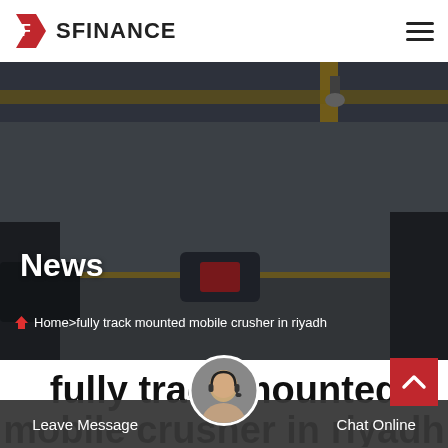SFINANCE
[Figure (photo): Industrial/manufacturing facility interior with heavy equipment and cranes, used as hero background image with dark overlay]
News
Home>fully track mounted mobile crusher in riyadh
fully track mounted mobile crusher in riyadh
Leave Message
Chat Online